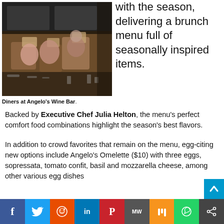[Figure (photo): Interior of Angelo's Wine Bar showing diners seated at tables with leather chairs]
Diners at Angelo’s Wine Bar.
with the season, delivering a brunch menu full of seasonally inspired items.
Backed by Executive Chef Julia Helton, the menu’s perfect comfort food combinations highlight the season’s best flavors.
In addition to crowd favorites that remain on the menu, egg-citing new options include Angelo’s Omelette ($10) with three eggs, sopressata, tomato confit, basil and mozzarella cheese, among other various egg dishes
[Figure (infographic): Social media sharing buttons bar: Facebook, Twitter, Reddit, LinkedIn, Pinterest, MW, Mix, WhatsApp, Share]